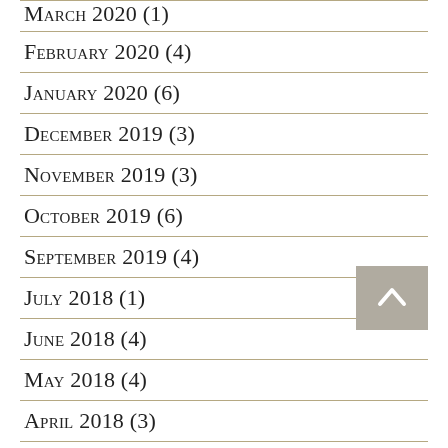March 2020 (1)
February 2020 (4)
January 2020 (6)
December 2019 (3)
November 2019 (3)
October 2019 (6)
September 2019 (4)
July 2018 (1)
June 2018 (4)
May 2018 (4)
April 2018 (3)
March 2018 (4)
February 2018 (3)
January 2018 (5)